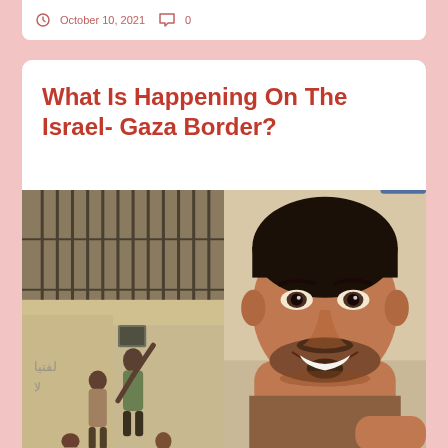October 10, 2021  0
What Is Happening On The Israel- Gaza Border?
[Figure (photo): Two-panel photo: left shows people near a metal fence/gate with Arabic graffiti writing on a wall; right shows a close-up portrait of a smiling young man with short dark hair and a beard.]